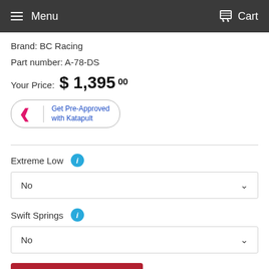Menu  Cart
Brand: BC Racing
Part number: A-78-DS
Your Price: $ 1,395.00
[Figure (logo): Katapult Get Pre-Approved button with K logo]
Extreme Low
No (dropdown)
Swift Springs
No (dropdown)
Add to Cart